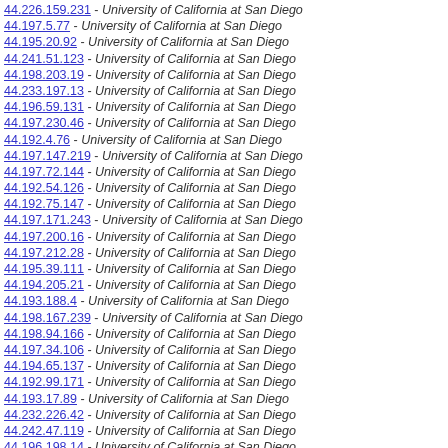44.226.159.231 - University of California at San Diego
44.197.5.77 - University of California at San Diego
44.195.20.92 - University of California at San Diego
44.241.51.123 - University of California at San Diego
44.198.203.19 - University of California at San Diego
44.233.197.13 - University of California at San Diego
44.196.59.131 - University of California at San Diego
44.197.230.46 - University of California at San Diego
44.192.4.76 - University of California at San Diego
44.197.147.219 - University of California at San Diego
44.197.72.144 - University of California at San Diego
44.192.54.126 - University of California at San Diego
44.192.75.147 - University of California at San Diego
44.197.171.243 - University of California at San Diego
44.197.200.16 - University of California at San Diego
44.197.212.28 - University of California at San Diego
44.195.39.111 - University of California at San Diego
44.194.205.21 - University of California at San Diego
44.193.188.4 - University of California at San Diego
44.198.167.239 - University of California at San Diego
44.198.94.166 - University of California at San Diego
44.197.34.106 - University of California at San Diego
44.194.65.137 - University of California at San Diego
44.192.99.171 - University of California at San Diego
44.193.17.89 - University of California at San Diego
44.232.226.42 - University of California at San Diego
44.242.47.119 - University of California at San Diego
44.196.198.14 - University of California at San Diego
44.192.33.105 - University of California at San Diego
44.192.114.186 - University of California at San Diego